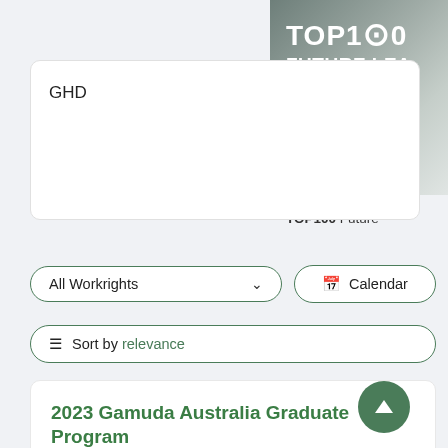[Figure (other): TOP100 Future Leaders Competition banner, partially visible in top-right corner with gradient grey background]
TOP100 Future
GHD
All Workrights
Calendar
Sort by relevance
2023 Gamuda Australia Graduate Program
Gamuda   CLOSING IN 12 DAYS